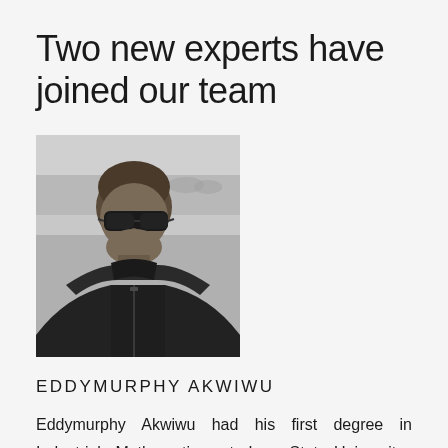Two new experts have joined our team
[Figure (photo): Black and white portrait photo of Eddymurphy Akwiwu, a man wearing dark sunglasses and a turtleneck, with a park/outdoor background]
EDDYMURPHY AKWIWU
Eddymurphy Akwiwu had his first degree in Industrial Mathematics at Imo State University, Nigeria. He holds two Masters